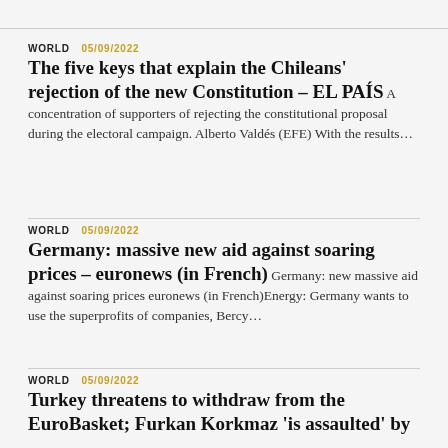WORLD   05/09/2022
The five keys that explain the Chileans' rejection of the new Constitution – EL PAÍS  A concentration of supporters of rejecting the constitutional proposal during the electoral campaign. Alberto Valdés (EFE) With the results...
WORLD   05/09/2022
Germany: massive new aid against soaring prices – euronews (in French)  Germany: new massive aid against soaring prices euronews (in French)Energy: Germany wants to use the superprofits of companies, Bercy...
WORLD   05/09/2022
Turkey threatens to withdraw from the EuroBasket; Furkan Korkmaz 'is assaulted' by...